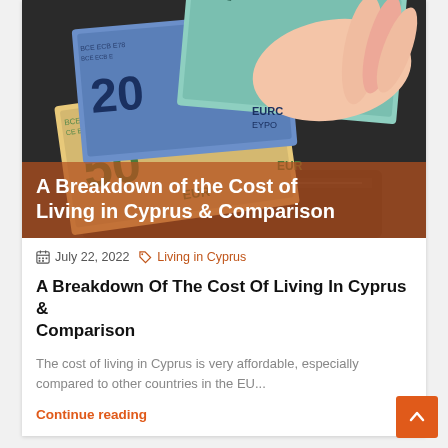[Figure (photo): Photograph of Euro banknotes (€10, €20, €50) being held by a hand, with a black wallet/purse visible in the background]
A Breakdown of the Cost of Living in Cyprus & Comparison
July 22, 2022   Living in Cyprus
A Breakdown Of The Cost Of Living In Cyprus & Comparison
The cost of living in Cyprus is very affordable, especially compared to other countries in the EU...
Continue reading